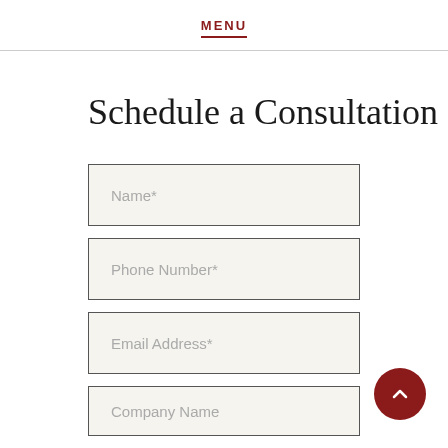MENU
Schedule a Consultation
[Figure (other): Web form with input fields: Name*, Phone Number*, Email Address*, Company Name]
[Figure (other): Back to top button - circular dark red button with upward chevron arrow]